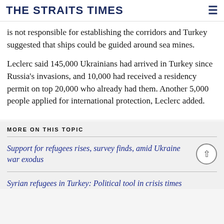THE STRAITS TIMES
is not responsible for establishing the corridors and Turkey suggested that ships could be guided around sea mines.
Leclerc said 145,000 Ukrainians had arrived in Turkey since Russia's invasions, and 10,000 had received a residency permit on top 20,000 who already had them. Another 5,000 people applied for international protection, Leclerc added.
MORE ON THIS TOPIC
Support for refugees rises, survey finds, amid Ukraine war exodus
Syrian refugees in Turkey: Political tool in crisis times